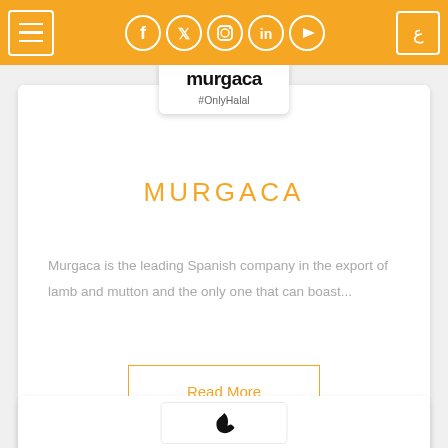Navigation bar with hamburger menu, social icons (Facebook, Twitter, Instagram, LinkedIn, YouTube), and Arabic language toggle
[Figure (logo): Murgaca logo with text 'murgaca' and '#OnlyHalal' tagline in a white rounded box]
MURGACA
Murgaca is the leading Spanish company in the export of lamb and mutton and the only one that can boast...
Read More